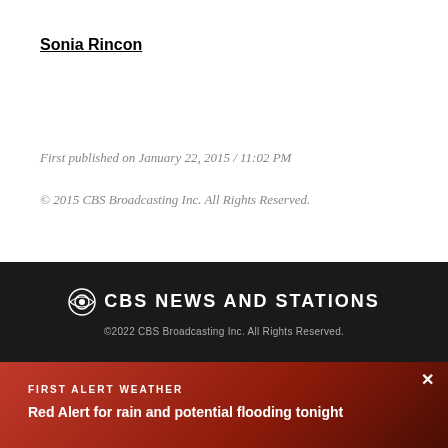Sonia Rincon
First published on January 22, 2015 / 11:02 PM
© 2015 CBS Broadcasting Inc. All Rights Reserved.
CBS NEWS AND STATIONS
©2022 CBS Broadcasting Inc. All Rights Reserved.
FIRST ALERT WEATHER
Red Alert for rain and potential flooding tonight